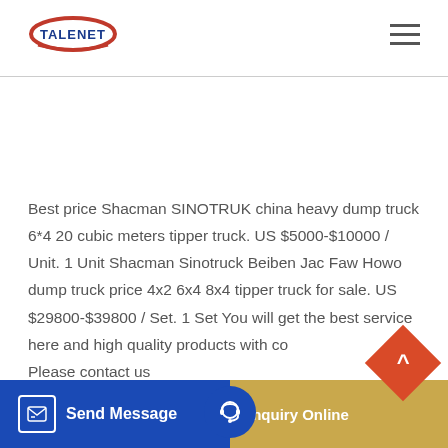[Figure (logo): TALENET logo with red swoosh ellipse and blue text]
Best price Shacman SINOTRUK china heavy dump truck 6*4 20 cubic meters tipper truck. US $5000-$10000 / Unit. 1 Unit Shacman Sinotruck Beiben Jac Faw Howo dump truck price 4x2 6x4 8x4 tipper truck for sale. US $29800-$39800 / Set. 1 Set You will get the best service here and high quality products with co Please contact us